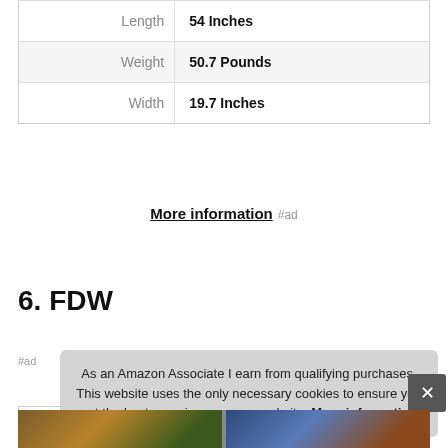| Attribute | Value |
| --- | --- |
| Length | 54 Inches |
| Weight | 50.7 Pounds |
| Width | 19.7 Inches |
More information #ad
6. FDW
#ad
As an Amazon Associate I earn from qualifying purchases. This website uses the only necessary cookies to ensure you get the best experience on our website. More information